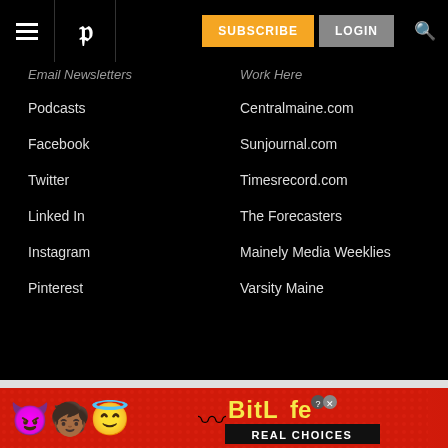SUBSCRIBE LOGIN
Email Newsletters
Podcasts
Facebook
Twitter
Linked In
Instagram
Pinterest
Work Here
Centralmaine.com
Sunjournal.com
Timesrecord.com
The Forecasters
Mainely Media Weeklies
Varsity Maine
[Figure (screenshot): BitLife Real Choices advertisement banner with colorful emoji characters on red background]